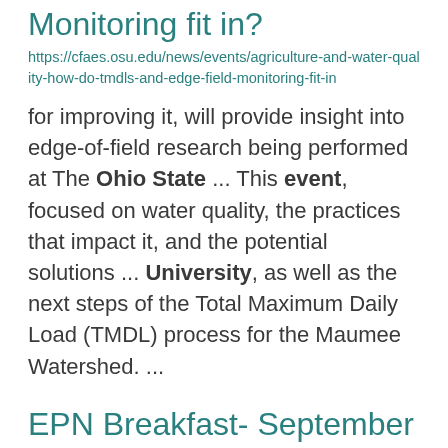Monitoring fit in?
https://cfaes.osu.edu/news/events/agriculture-and-water-quality-how-do-tmdls-and-edge-field-monitoring-fit-in
for improving it, will provide insight into edge-of-field research being performed at The Ohio State ... This event, focused on water quality, the practices that impact it, and the potential solutions ... University, as well as the next steps of the Total Maximum Daily Load (TMDL) process for the Maumee Watershed. ...
EPN Breakfast- September 13, 2022: Advancing environmental